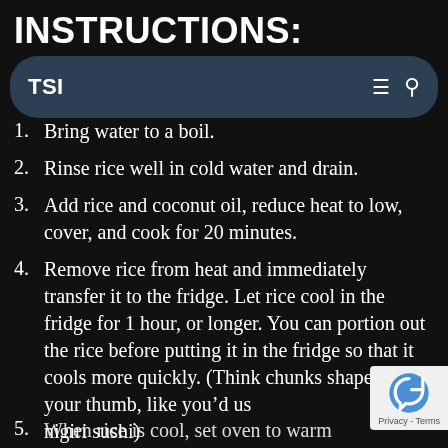INSTRUCTIONS:
TSI
1. Bring water to a boil.
2. Rinse rice well in cold water and drain.
3. Add rice and coconut oil, reduce heat to low, cover, and cook for 20 minutes.
4. Remove rice from heat and immediately transfer it to the fridge. Let rice cool in the fridge for 1 hour, or longer. You can portion out the rice before putting it in the fridge so that it cools more quickly. (Think chunks shaped like your thumb, like you’d use for nigiri sushi)
5. When rice is cool, set oven to warm…